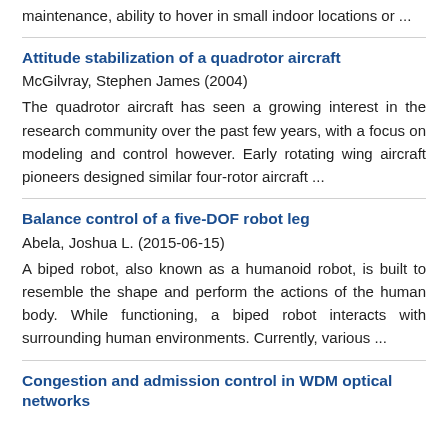maintenance, ability to hover in small indoor locations or ...
Attitude stabilization of a quadrotor aircraft
McGilvray, Stephen James (2004)
The quadrotor aircraft has seen a growing interest in the research community over the past few years, with a focus on modeling and control however. Early rotating wing aircraft pioneers designed similar four-rotor aircraft ...
Balance control of a five-DOF robot leg
Abela, Joshua L. (2015-06-15)
A biped robot, also known as a humanoid robot, is built to resemble the shape and perform the actions of the human body. While functioning, a biped robot interacts with surrounding human environments. Currently, various ...
Congestion and admission control in WDM optical networks